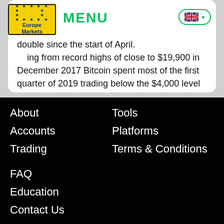[Figure (logo): Europe Markets logo: yellow box with blue star circle and text 'Europe Markets']
MENU
double since the start of April. ...ing from record highs of close to $19,900 in December 2017 Bitcoin spent most of the first quarter of 2019 trading below the $4,000 level before regaining momentum early last month.
About
Tools
Accounts
Platforms
Trading
Terms & Conditions
FAQ
Education
Contact Us